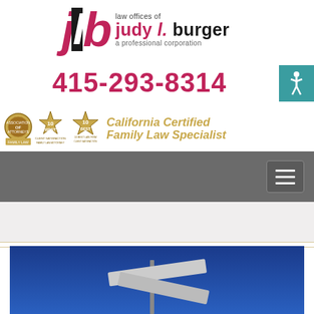[Figure (logo): Law Offices of Judy L. Burger - a professional corporation logo with stylized jlb initials in pink/black]
415-293-8314
[Figure (infographic): Three gold award badges and text reading 'California Certified Family Law Specialist']
[Figure (screenshot): Website navigation bar in grey with hamburger menu button on right side]
[Figure (photo): Blue sky background with street sign pole and blank signs]